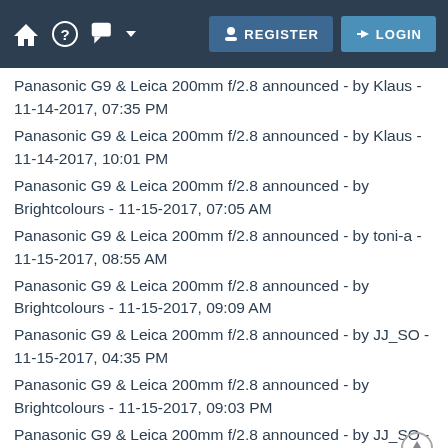REGISTER LOGIN
Panasonic G9 & Leica 200mm f/2.8 announced - by Klaus - 11-14-2017, 07:35 PM
Panasonic G9 & Leica 200mm f/2.8 announced - by Klaus - 11-14-2017, 10:01 PM
Panasonic G9 & Leica 200mm f/2.8 announced - by Brightcolours - 11-15-2017, 07:05 AM
Panasonic G9 & Leica 200mm f/2.8 announced - by toni-a - 11-15-2017, 08:55 AM
Panasonic G9 & Leica 200mm f/2.8 announced - by Brightcolours - 11-15-2017, 09:09 AM
Panasonic G9 & Leica 200mm f/2.8 announced - by JJ_SO - 11-15-2017, 04:35 PM
Panasonic G9 & Leica 200mm f/2.8 announced - by Brightcolours - 11-15-2017, 09:03 PM
Panasonic G9 & Leica 200mm f/2.8 announced - by JJ_SO - 11-15-2017, 09:18 PM
Panasonic G9 & Leica 200mm f/2.8 announced - by Brightcolours - 11-15-2017, 10:06 PM
Panasonic G9 & Leica 200mm f/2.8 announced - by JJ_SO - 11-15-2017, 10:56 PM
Panasonic G9 & Leica 200mm f/2.8 announced - by thxbb12 - 11-16-2017, 12:06 AM
Panasonic G9 & Leica 200mm f/2.8 announced - by JJ_SO - 11-16-...